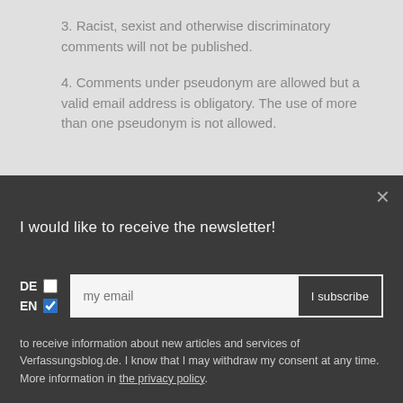3. Racist, sexist and otherwise discriminatory comments will not be published.
4. Comments under pseudonym are allowed but a valid email address is obligatory. The use of more than one pseudonym is not allowed.
I would like to receive the newsletter!
to receive information about new articles and services of Verfassungsblog.de. I know that I may withdraw my consent at any time. More information in the privacy policy.